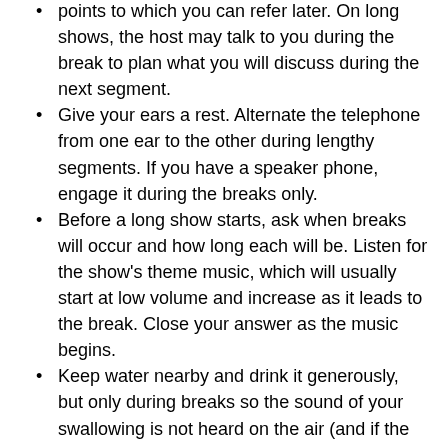points to which you can refer later. On long shows, the host may talk to you during the break to plan what you will discuss during the next segment.
Give your ears a rest. Alternate the telephone from one ear to the other during lengthy segments. If you have a speaker phone, engage it during the breaks only.
Before a long show starts, ask when breaks will occur and how long each will be. Listen for the show’s theme music, which will usually start at low volume and increase as it leads to the break. Close your answer as the music begins.
Keep water nearby and drink it generously, but only during breaks so the sound of your swallowing is not heard on the air (and if the water goes down the wrong pipe, your coughing will not interfere with your interview).
Keep your list of questions and answers in front of you. Refer to it regularly and make notes as you speak.
After two or three shows in one day, you may